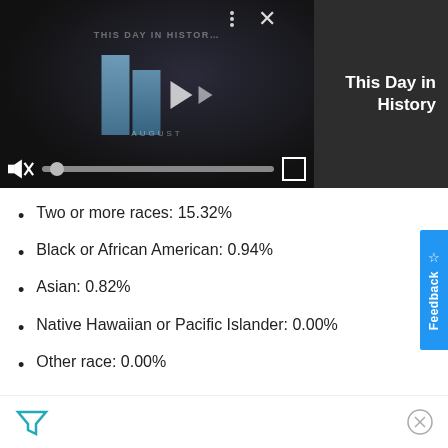[Figure (screenshot): Video player showing 'This Day in History' with play button, muted audio, progress bar, and fullscreen controls]
This Day in History
Two or more races: 15.32%
Black or African American: 0.94%
Asian: 0.82%
Native Hawaiian or Pacific Islander: 0.00%
Other race: 0.00%